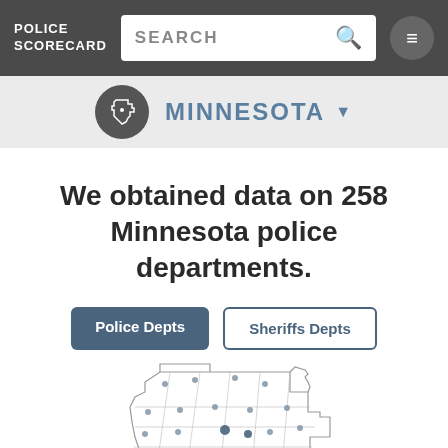POLICE SCORECARD
SEARCH
[Figure (map): Minnesota state selector with circular Minnesota state outline icon on dark background]
MINNESOTA
We obtained data on 258 Minnesota police departments.
Police Depts
Sheriffs Depts
[Figure (map): Map of Minnesota showing county boundaries with dots representing 258 police departments. Some dots are orange/red indicating higher concern areas, others are gray/blue. Bottom center has a circular asterisk marker. Counties visible across the state with denser dot clusters in southern and central Minnesota.]